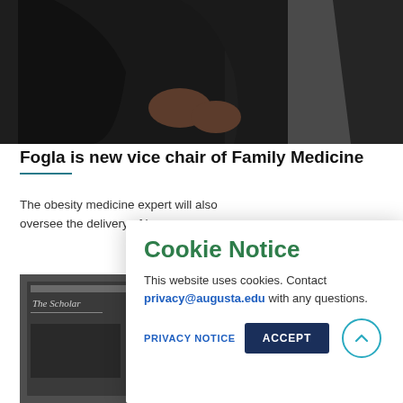[Figure (photo): Photo of a person in dark clothing, cropped at torso level, in an indoor setting]
Fogla is new vice chair of Family Medicine
The obesity medicine expert will also oversee the delivery of h
[Figure (photo): Cover of 'The Scholar' publication, dark background]
Cookie Notice
This website uses cookies. Contact privacy@augusta.edu with any questions.
PRIVACY NOTICE  ACCEPT